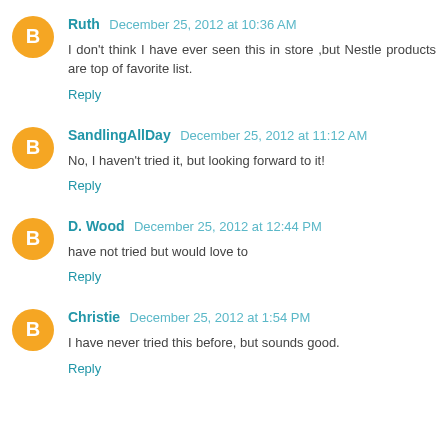Ruth  December 25, 2012 at 10:36 AM
I don't think I have ever seen this in store ,but Nestle products are top of favorite list.
Reply
SandlingAllDay  December 25, 2012 at 11:12 AM
No, I haven't tried it, but looking forward to it!
Reply
D. Wood  December 25, 2012 at 12:44 PM
have not tried but would love to
Reply
Christie  December 25, 2012 at 1:54 PM
I have never tried this before, but sounds good.